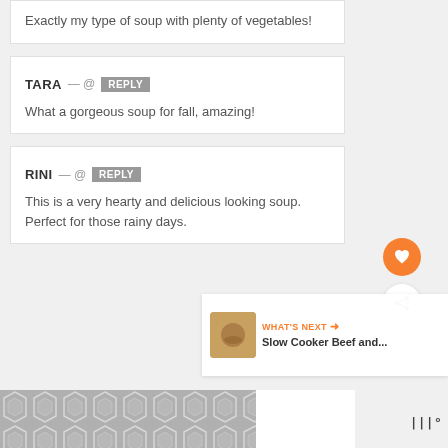Exactly my type of soup with plenty of vegetables!
TARA — @  REPLY
What a gorgeous soup for fall, amazing!
RINI — @  REPLY
This is a very hearty and delicious looking soup. Perfect for those rainy days.
[Figure (infographic): Hexagonal tile pattern in grey, ad strip at bottom]
WHAT'S NEXT → Slow Cooker Beef and...